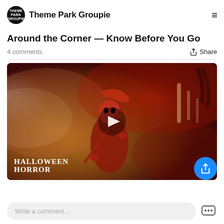Theme Park Groupie
Around the Corner — Know Before You Go
4 comments
Share
[Figure (screenshot): Video thumbnail showing a Halloween Horror Nights character — a red-masked skeleton figure in a coat holding a large scythe, surrounded by red fog and atmospheric lighting. A play button is centered on the image. 'HALLOWEEN HORROR' text appears in the lower-left corner.]
Write a comment...